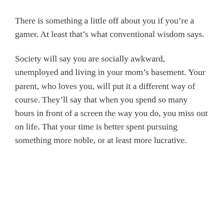There is something a little off about you if you’re a gamer. At least that’s what conventional wisdom says.
Society will say you are socially awkward, unemployed and living in your mom’s basement. Your parent, who loves you, will put it a different way of course. They’ll say that when you spend so many hours in front of a screen the way you do, you miss out on life. That your time is better spent pursuing something more noble, or at least more lucrative.